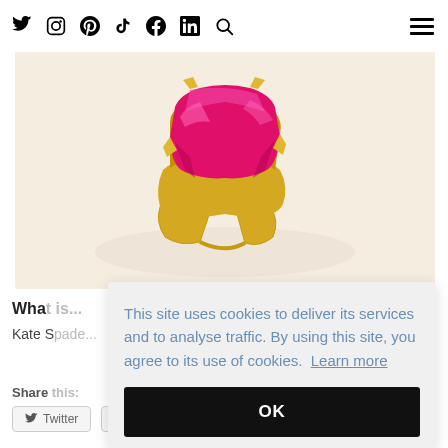Social icons: Twitter, Instagram, Pinterest, TikTok, Facebook, LinkedIn, Search; Hamburger menu
[Figure (photo): A pink/magenta large gemstone ring with a gold band, displayed on a light beige background. The rectangular pink stone is prominently featured on a yellow gold setting.]
Wha[t is...]
Kate S[pade...]
Share this:
Twitter   Facebook
This site uses cookies to deliver its services and to analyse traffic. By using this site, you agree to its use of cookies. Learn more
OK